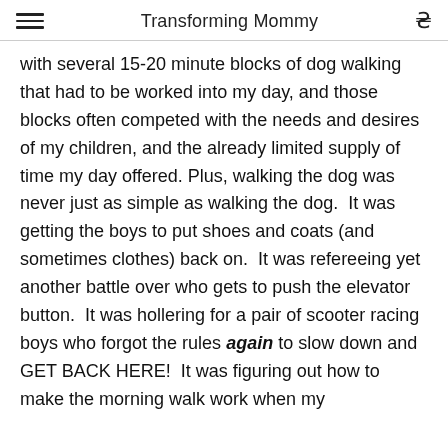Transforming Mommy
with several 15-20 minute blocks of dog walking that had to be worked into my day, and those blocks often competed with the needs and desires of my children, and the already limited supply of time my day offered. Plus, walking the dog was never just as simple as walking the dog.  It was getting the boys to put shoes and coats (and sometimes clothes) back on.  It was refereeing yet another battle over who gets to push the elevator button.  It was hollering for a pair of scooter racing boys who forgot the rules again to slow down and GET BACK HERE!  It was figuring out how to make the morning walk work when my